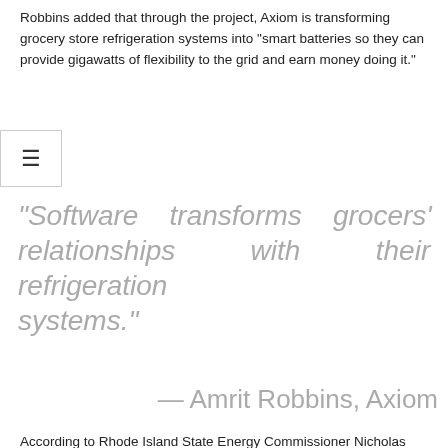Robbins added that through the project, Axiom is transforming grocery store refrigeration systems into “smart batteries so they can provide gigawatts of flexibility to the grid and earn money doing it.”
“Software transforms grocers’ relationships with their refrigeration systems.”
— Amrit Robbins, Axiom
According to Rhode Island State Energy Commissioner Nicholas Ucci, “The Refrigeration Energy Management Project will allow us to target grocery stores across the state as a valuable source of flexible energy loads while providing crucial energy savings to these businesses”.
“As Rhode Island strives to achieve its goal of net-zero greenhouse